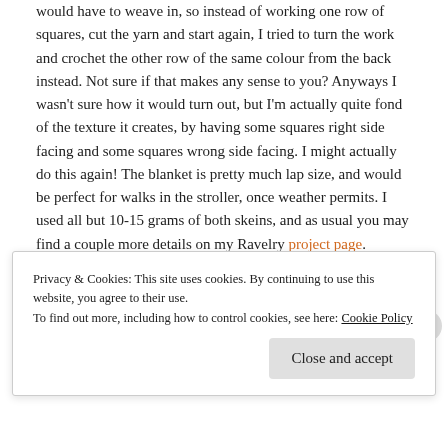would have to weave in, so instead of working one row of squares, cut the yarn and start again, I tried to turn the work and crochet the other row of the same colour from the back instead. Not sure if that makes any sense to you? Anyways I wasn't sure how it would turn out, but I'm actually quite fond of the texture it creates, by having some squares right side facing and some squares wrong side facing. I might actually do this again! The blanket is pretty much lap size, and would be perfect for walks in the stroller, once weather permits. I used all but 10-15 grams of both skeins, and as usual you may find a couple more details on my Ravelry project page.
[Figure (photo): Two photos side by side of a crocheted blanket with chevron/wave pattern in blue and white colors, draped over furniture]
Privacy & Cookies: This site uses cookies. By continuing to use this website, you agree to their use.
To find out more, including how to control cookies, see here: Cookie Policy